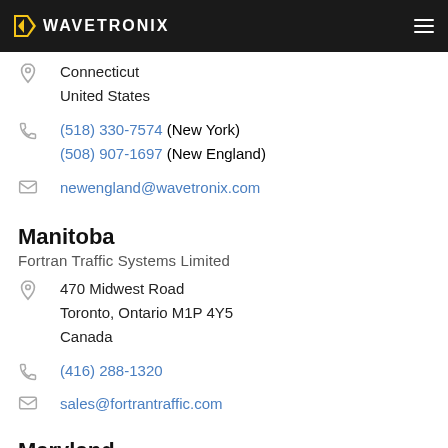WAVETRONIX
Connecticut
United States
(518) 330-7574 (New York)
(508) 907-1697 (New England)
newengland@wavetronix.com
Manitoba
Fortran Traffic Systems Limited
470 Midwest Road
Toronto, Ontario M1P 4Y5
Canada
(416) 288-1320
sales@fortrantraffic.com
Maryland